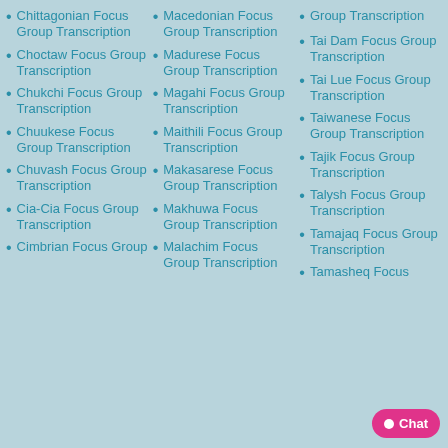Chittagonian Focus Group Transcription
Choctaw Focus Group Transcription
Chukchi Focus Group Transcription
Chuukese Focus Group Transcription
Chuvash Focus Group Transcription
Cia-Cia Focus Group Transcription
Cimbrian Focus Group
Macedonian Focus Group Transcription
Madurese Focus Group Transcription
Magahi Focus Group Transcription
Maithili Focus Group Transcription
Makasarese Focus Group Transcription
Makhuwa Focus Group Transcription
Malachim Focus Group Transcription
Group Transcription
Tai Dam Focus Group Transcription
Tai Lue Focus Group Transcription
Taiwanese Focus Group Transcription
Tajik Focus Group Transcription
Talysh Focus Group Transcription
Tamajaq Focus Group Transcription
Tamasheq Focus